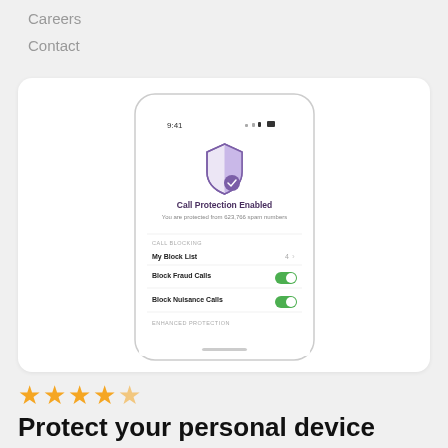Careers
Contact
[Figure (screenshot): Phone mockup showing Call Protection Enabled screen with My Block List, Block Fraud Calls (toggled on), Block Nuisance Calls (toggled on), and Enhanced Protection section.]
★★★★½
Protect your personal device
Join over 5 million people identifying the calls they want to take and blocking the numbers they